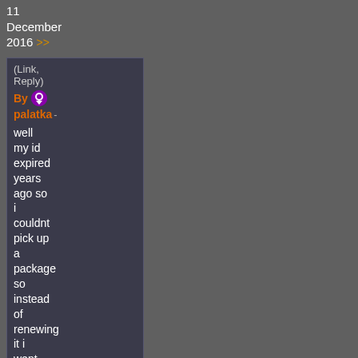11 December 2016 >>
(Link, Reply)
By palatka -
well my id expired years ago so i couldnt pick up a package so instead of renewing it i went to 3 different cashiers but hey, it actually worked the 3rd